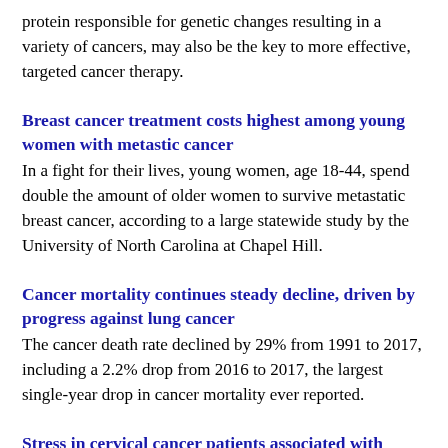protein responsible for genetic changes resulting in a variety of cancers, may also be the key to more effective, targeted cancer therapy.
Breast cancer treatment costs highest among young women with metastic cancer
In a fight for their lives, young women, age 18-44, spend double the amount of older women to survive metastatic breast cancer, according to a large statewide study by the University of North Carolina at Chapel Hill.
Cancer mortality continues steady decline, driven by progress against lung cancer
The cancer death rate declined by 29% from 1991 to 2017, including a 2.2% drop from 2016 to 2017, the largest single-year drop in cancer mortality ever reported.
Stress in cervical cancer patients associated with higher risk of cancer-specific mortality